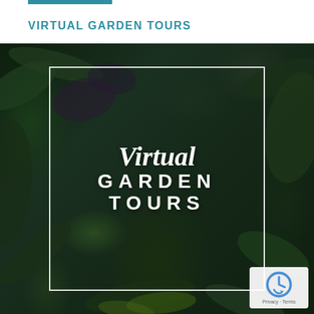VIRTUAL GARDEN TOURS
[Figure (photo): A dark lush garden foliage photo with a centered white-bordered frame containing the text 'Virtual GARDEN TOURS' in white italic and bold sans-serif lettering. A reCAPTCHA badge appears in the bottom-right corner.]